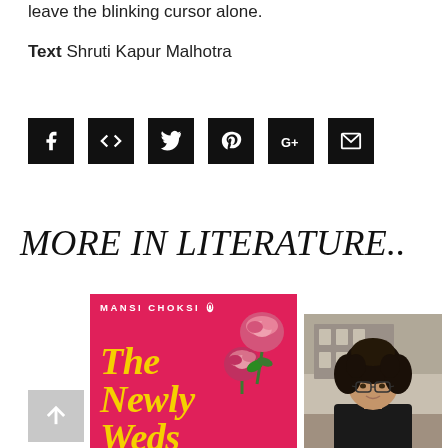leave the blinking cursor alone.
Text Shruti Kapur Malhotra
[Figure (screenshot): Social sharing buttons: Facebook (f), embed (</>), Twitter (bird), Pinterest (P), Google+ (G+), Email (envelope) — black square icons in a row]
MORE IN LITERATURE..
[Figure (photo): Book cover: 'The Newly Weds' by Mansi Choksi, Penguin publisher, pink/magenta background with illustrated roses and yellow serif title text]
[Figure (photo): Photo of a woman with curly dark hair and glasses, wearing a black top, standing on a city street with a building in the background]